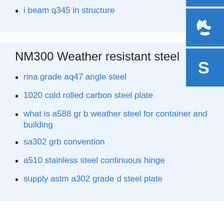i beam q345 in structure
[Figure (illustration): Blue square icon with white headset/customer support symbol]
[Figure (illustration): Blue square icon with white phone/call symbol]
[Figure (illustration): Blue square icon with white Skype logo symbol]
NM300 Weather resistant steel
rina grade aq47 angle steel
1020 cold rolled carbon steel plate
what is a588 gr b weather steel for container and building
sa302 grb convention
a510 stainless steel continuous hinge
supply astm a302 grade d steel plate